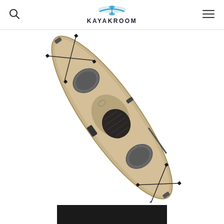KAYAKROOM
[Figure (photo): Top-down aerial view of a tan/sand colored sit-on-top fishing kayak with bungee cord straps, two circular hatches, a seat, foot pedals, and handles at bow and stern]
[Figure (screenshot): Black navigation bar at the bottom of the page]